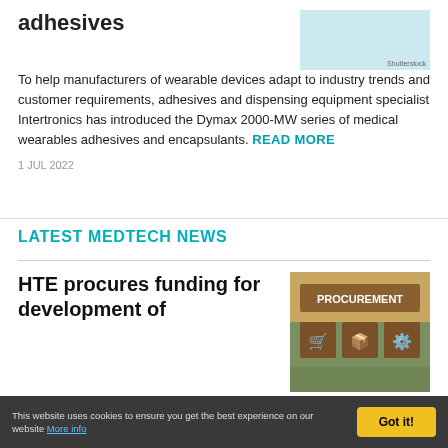adhesives
[Figure (photo): Light blue image placeholder with Shutterstock watermark in bottom right corner]
To help manufacturers of wearable devices adapt to industry trends and customer requirements, adhesives and dispensing equipment specialist Intertronics has introduced the Dymax 2000-MW series of medical wearables adhesives and encapsulants. READ MORE
1 JUL 2022
LATEST MEDTECH NEWS
HTE procures funding for development of
[Figure (photo): Photo of wooden blocks/cubes with 'PROCUREMENT' text on top block and icons on lower blocks including a cart, package, checklist, and target/settings icons]
This website uses cookies to ensure you get the best experience on our website More info